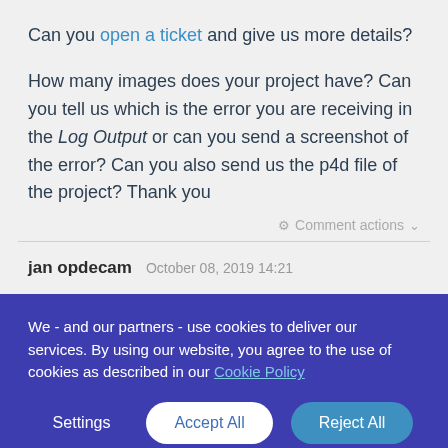Can you open a ticket and give us more details?
How many images does your project have? Can you tell us which is the error you are receiving in the Log Output or can you send a screenshot of the error? Can you also send us the p4d file of the project? Thank you
⚙ Comment actions ∨
jan opdecam   October 08, 2019 14:21
We - and our partners - use cookies to deliver our services. By using our website, you agree to the use of cookies as described in our Cookie Policy
Settings   Accept All   Reject All